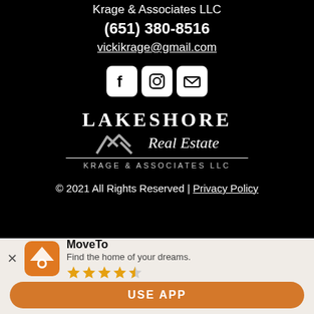Krage & Associates LLC
(651) 380-8516
vickikrage@gmail.com
[Figure (other): Social media icons: Facebook, Instagram, Email]
[Figure (logo): Lakeshore Real Estate Krage & Associates LLC logo]
© 2021 All Rights Reserved | Privacy Policy
109 S Lakeshore Dr.
Lake City, MN 55041
[Figure (other): MoveTo app banner with icon, rating stars, and USE APP button]